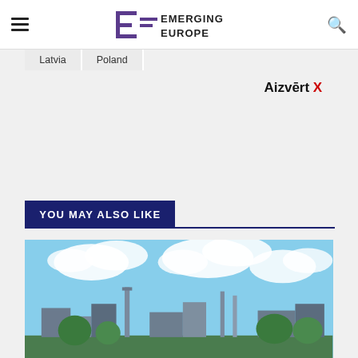Emerging Europe
Latvia
Poland
Aizvērt X
YOU MAY ALSO LIKE
[Figure (photo): Industrial or infrastructure facility with buildings, towers, and green trees against a partly cloudy blue sky.]